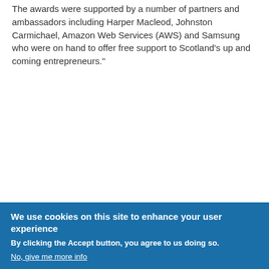The awards were supported by a number of partners and ambassadors including Harper Macleod, Johnston Carmichael, Amazon Web Services (AWS) and Samsung who were on hand to offer free support to Scotland's up and coming entrepreneurs."
[Figure (infographic): Blue rounded rectangle banner with white text reading 'CORONAVIRUS UPDATE' and 'BUSINESS SUPPORT AVAILABLE' and 'click to find out more >>']
[Figure (infographic): Dark/black rounded rectangle banner with cyan blue bold text reading 'GET MORE' and a scroll/email icon graphic on the right]
We use cookies on this site to enhance your user experience
By clicking the Accept button, you agree to us doing so.
No, give me more info